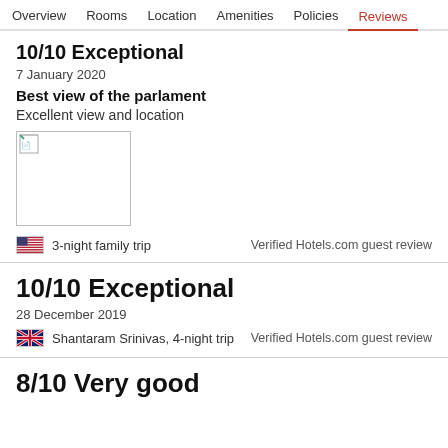Overview  Rooms  Location  Amenities  Policies  Reviews
10/10 Exceptional
7 January 2020
Best view of the parlament
Excellent view and location
[Figure (photo): Placeholder photo image with broken image icon]
🇺🇸 3-night family trip
Verified Hotels.com guest review
10/10 Exceptional
28 December 2019
🇬🇧 Shantaram Srinivas, 4-night trip
Verified Hotels.com guest review
8/10 Very good